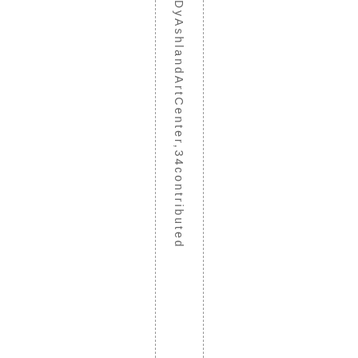by Ashland Art Center, 34 contributed